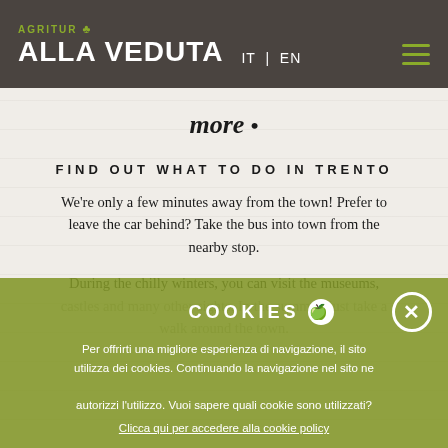AGRITUR ☘ ALLA VEDUTA IT | EN
more •
FIND OUT WHAT TO DO IN TRENTO
We’re only a few minutes away from the town! Prefer to leave the car behind? Take the bus into town from the nearby stop.
During the chilly winters, you can visit the museums,
castles and many other sights. In the summer, just take a walk around the town.
COOKIES - Per offrirti una migliore esperienza di navigazione, il sito utilizza dei cookies. Continuando la navigazione nel sito ne autorizzi l’utilizzo. Vuoi sapere quali cookie sono utilizzati? Clicca qui per accedere alla cookie policy